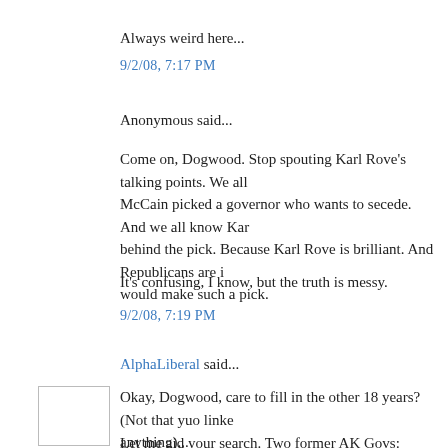Always weird here...
9/2/08, 7:17 PM
Anonymous said...
Come on, Dogwood. Stop spouting Karl Rove's talking points. We all know McCain picked a governor who wants to secede. And we all know Karl Rove is behind the pick. Because Karl Rove is brilliant. And Republicans are idiots who would make such a pick.
It's confusing, I know, but the truth is messy.
9/2/08, 7:19 PM
AlphaLiberal said...
Okay, Dogwood, care to fill in the other 18 years? (Not that yuo linked anything)...
Let me aid your search. Two former AK Govs:
Tony Knowles